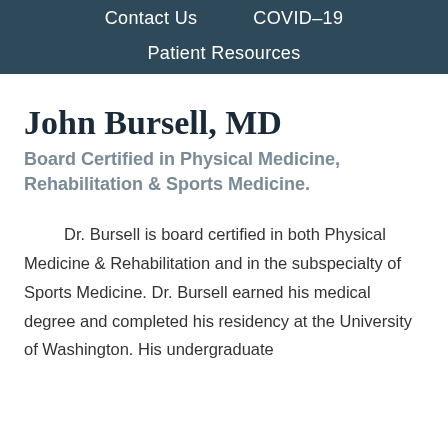Contact Us   COVID-19   Patient Resources
John Bursell, MD
Board Certified in Physical Medicine, Rehabilitation & Sports Medicine.
Dr. Bursell is board certified in both Physical Medicine & Rehabilitation and in the subspecialty of Sports Medicine. Dr. Bursell earned his medical degree and completed his residency at the University of Washington. His undergraduate